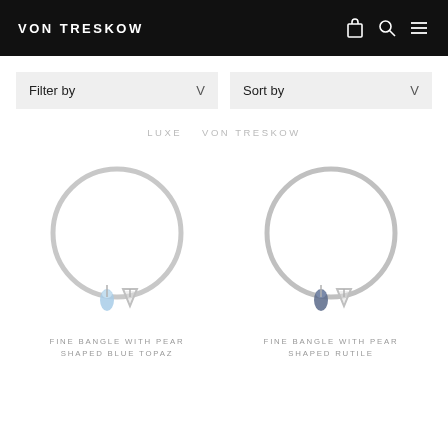VON TRESKOW
Filter by
Sort by
LUXE   VON TRESKOW
[Figure (photo): Silver bangle with pear shaped blue topaz charm and triangle charm]
FINE BANGLE WITH PEAR SHAPED BLUE TOPAZ
[Figure (photo): Silver bangle with pear shaped rutile charm and triangle charm]
FINE BANGLE WITH PEAR SHAPED RUTILE